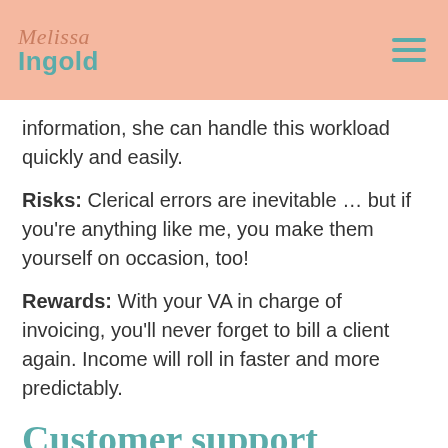Melissa Ingold
information, she can handle this workload quickly and easily.
Risks: Clerical errors are inevitable … but if you're anything like me, you make them yourself on occasion, too!
Rewards: With your VA in charge of invoicing, you'll never forget to bill a client again. Income will roll in faster and more predictably.
Customer support